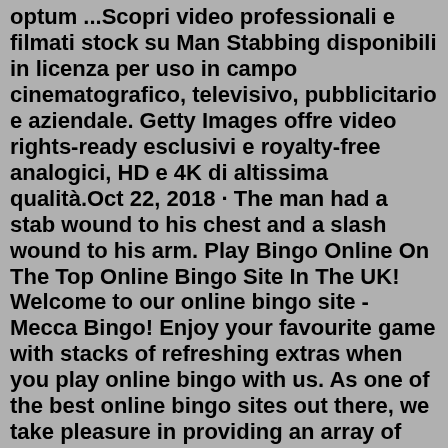optum ...Scopri video professionali e filmati stock su Man Stabbing disponibili in licenza per uso in campo cinematografico, televisivo, pubblicitario e aziendale. Getty Images offre video rights-ready esclusivi e royalty-free analogici, HD e 4K di altissima qualità.Oct 22, 2018 · The man had a stab wound to his chest and a slash wound to his arm. Play Bingo Online On The Top Online Bingo Site In The UK! Welcome to our online bingo site - Mecca Bingo! Enjoy your favourite game with stacks of refreshing extras when you play online bingo with us. As one of the best online bingo sites out there, we take pleasure in providing an array of fantastic bingo promotions and high-quality bingo games with superb visuals to keep your gameplay ...3.4K views, 15 likes, 0 loves, 38 comments, 71 shares, Facebook Watch Videos from Traditional Britain Group - Under Attack: Man is repeatedly stabbed from behind at Fatling and Firkin pub in... Find Us. Langdon Academy Sussex Road, East Ham E6 2PS. Contact. T: 0208 471 2411 E: info@langdonacademy.org © 2022 Langdon Academy